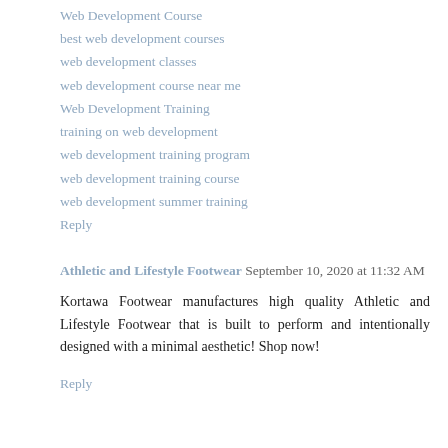Web Development Course
best web development courses
web development classes
web development course near me
Web Development Training
training on web development
web development training program
web development training course
web development summer training
Reply
Athletic and Lifestyle Footwear  September 10, 2020 at 11:32 AM
Kortawa Footwear manufactures high quality Athletic and Lifestyle Footwear that is built to perform and intentionally designed with a minimal aesthetic! Shop now!
Reply